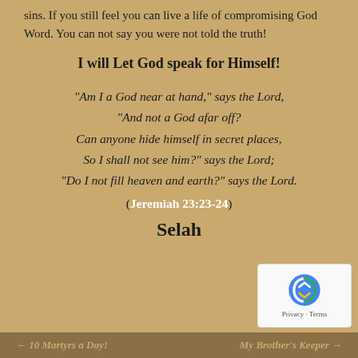sins. If you still feel you can live a life of compromising God Word. You can not say you were not told the truth!
I will Let God speak for Himself!
“Am I a God near at hand,” says the Lord, “And not a God afar off? Can anyone hide himself in secret places, So I shall not see him?” says the Lord; “Do I not fill heaven and earth?” says the Lord.
(Jeremiah 23:23-24)
Selah
← 10 Martyrs a Day!    My Brother’s Keeper →